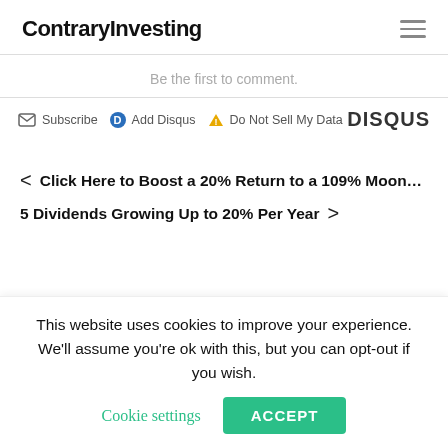ContraryInvesting
Be the first to comment.
Subscribe  Add Disqus  Do Not Sell My Data  DISQUS
< Click Here to Boost a 20% Return to a 109% Moon...
5 Dividends Growing Up to 20% Per Year >
This website uses cookies to improve your experience. We'll assume you're ok with this, but you can opt-out if you wish. Cookie settings  ACCEPT